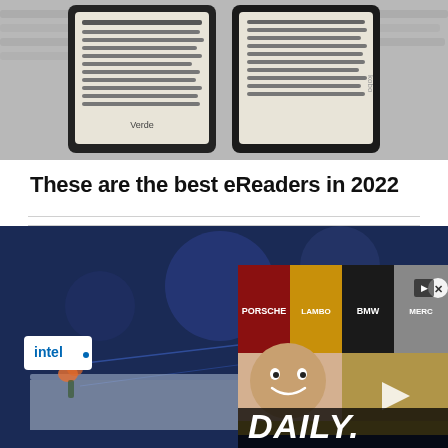[Figure (photo): Photo of two eReader devices (Kindle Verda and Kobo) side by side against a blurred light background]
These are the best eReaders in 2022
[Figure (screenshot): Video player showing an Intel-branded tech demo room in the background with a video overlay thumbnail featuring a person, car brand logos (Porsche, Lamborghini, BMW, Mercedes), and text 'DAILY.' with a play button. Close button (X) in top right.]